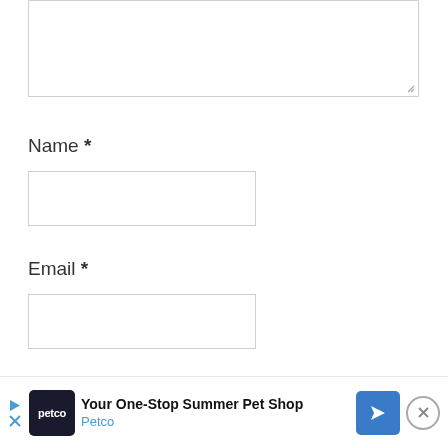[Figure (screenshot): Top portion of a web form comment textarea (empty), with a resize handle in the bottom-right corner. The textarea is partially cut off at the top.]
Name *
[Figure (screenshot): Empty text input field for Name]
Email *
[Figure (screenshot): Empty text input field for Email]
Website
[Figure (screenshot): Advertisement banner: Petco - Your One-Stop Summer Pet Shop, with Petco logo and directional arrow icon, and a close (X) button.]